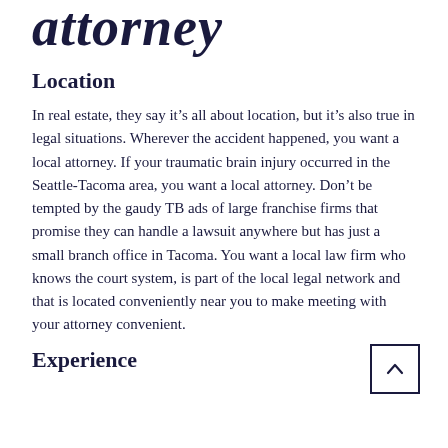attorney
Location
In real estate, they say it’s all about location, but it’s also true in legal situations. Wherever the accident happened, you want a local attorney. If your traumatic brain injury occurred in the Seattle-Tacoma area, you want a local attorney. Don’t be tempted by the gaudy TB ads of large franchise firms that promise they can handle a lawsuit anywhere but has just a small branch office in Tacoma. You want a local law firm who knows the court system, is part of the local legal network and that is located conveniently near you to make meeting with your attorney convenient.
Experience